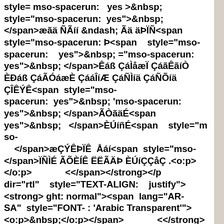style= mso-spacerun:  yes >&nbsp; style="mso-spacerun:  yes">&nbsp;  </span>æãä ÑÃíí &ndash; Ãä äÞÏÑ<span style="mso-spacerun: Þ<span  style="mso-spacerun:  yes">&nbsp; ="mso-spacerun: yes">&nbsp; </span>Êáß ÇáÌåæÏ ÇáãÊãíÒ ÈÐáß ÇáÃÓáæÈ ÇááÎíÆ ÇáÑÌíä ÇáÑÕíä ÇÎÊÝÊ<span  style="mso-spacerun:  yes">&nbsp; 'mso-spacerun: yes">&nbsp; </span>ÃÒãäÉ<span yes">&nbsp;  </span>ÈÚíñÉ<span  style="mso- </span>æÇÝÊÞÏÊ  Åáí<span  style="mso- </span>ÏÑÌÉ ÃÕÈÍÊ ËËÃÄÞ ÈÚíÇÇåÇ .<o:p></o:p> <</span></strong></p dir="rtl"  style="TEXT-ALIGN:  justify"><strong> ght: normal"><span  lang="AR-SA"  style="FONT- : 'Arabic Transparent'"><o:p>&nbsp;</o:p></span> <</strong></p dir="rtl"  style="TEXT-ALIGN:  justify"><strong>